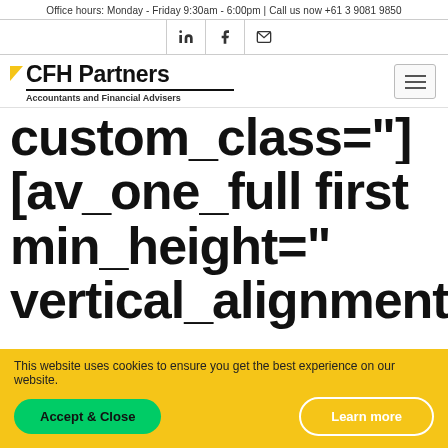Office hours: Monday - Friday 9:30am - 6:00pm | Call us now +61 3 9081 9850
[Figure (logo): CFH Partners logo with yellow triangle, bold text, underline, and tagline 'Accountants and Financial Advisers']
custom_class=”]
[av_one_full first min_height=“ vertical_alignment=‘av-
This website uses cookies to ensure you get the best experience on our website.
Accept & Close
Learn more